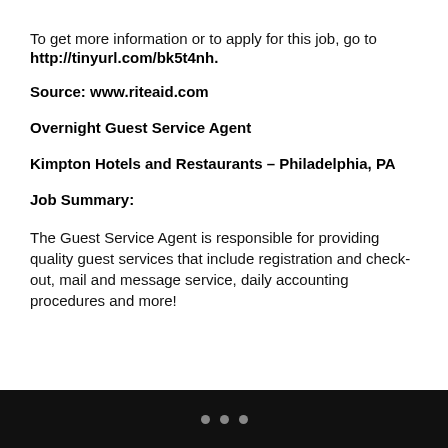To get more information or to apply for this job, go to http://tinyurl.com/bk5t4nh.
Source: www.riteaid.com
Overnight Guest Service Agent
Kimpton Hotels and Restaurants – Philadelphia, PA
Job Summary:
The Guest Service Agent is responsible for providing quality guest services that include registration and check-out, mail and message service, daily accounting procedures and more!
• • •